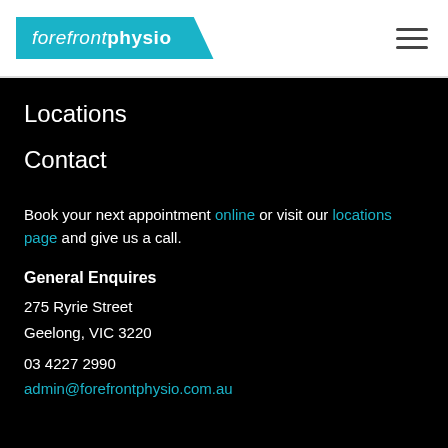[Figure (logo): Forefront Physio logo — teal parallelogram badge with italic 'forefront' and bold 'physio' in white text]
[Figure (other): Hamburger menu icon — three horizontal dark lines]
Locations
Contact
Book your next appointment online or visit our locations page and give us a call.
General Enquires
275 Ryrie Street
Geelong, VIC 3220
03 4227 2990
admin@forefrontphysio.com.au